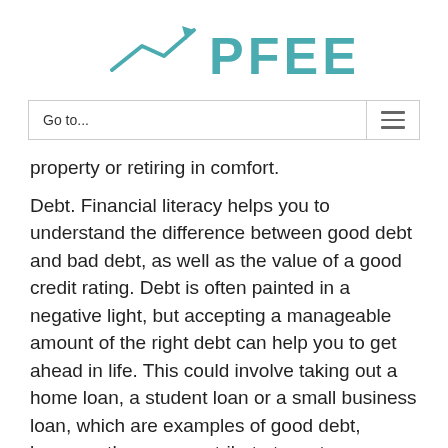[Figure (logo): PFEEF logo with teal upward arrow/chart icon and teal text PFEEF]
Go to...
property or retiring in comfort.
Debt. Financial literacy helps you to understand the difference between good debt and bad debt, as well as the value of a good credit rating. Debt is often painted in a negative light, but accepting a manageable amount of the right debt can help you to get ahead in life. This could involve taking out a home loan, a student loan or a small business loan, which are examples of good debt, because they can contribute to a stronger financial footing.